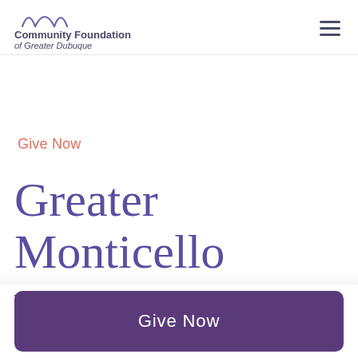[Figure (logo): Community Foundation of Greater Dubuque logo with purple arch graphic above text]
Give Now
Greater Monticello Foundation
Give Now